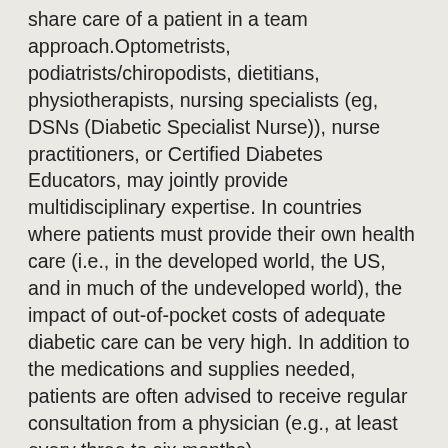share care of a patient in a team approach.Optometrists, podiatrists/chiropodists, dietitians, physiotherapists, nursing specialists (eg, DSNs (Diabetic Specialist Nurse)), nurse practitioners, or Certified Diabetes Educators, may jointly provide multidisciplinary expertise. In countries where patients must provide their own health care (i.e., in the developed world, the US, and in much of the undeveloped world), the impact of out-of-pocket costs of adequate diabetic care can be very high. In addition to the medications and supplies needed, patients are often advised to receive regular consultation from a physician (e.g., at least every three to six months).
This article is licensed under the GNU Free Documentation License. It uses material from the Wikipedia article.